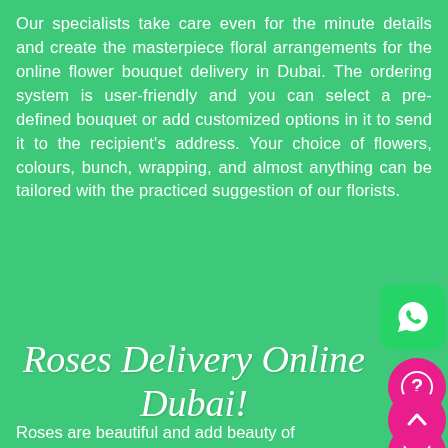Our specialists take care even for the minute details and create the masterpiece floral arrangements for the online flower bouquet delivery in Dubai. The ordering system is user-friendly and you can select a pre-defined bouquet or add customized options in it to send it to the recipient's address. Your choice of flowers, colours, bunch, wrapping, and almost anything can be tailored with the practiced suggestion of our florists.
Roses Delivery Online Dubai!
Roses are beautiful and add beauty of